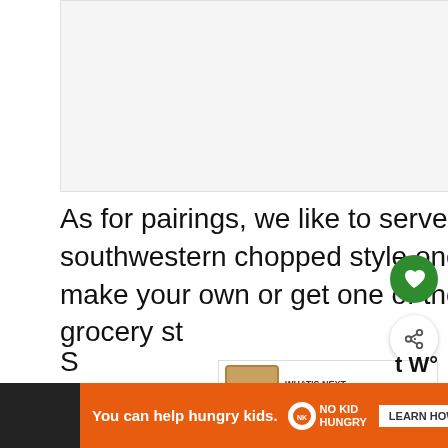[Figure (photo): Placeholder image area at top of page, light gray background]
As for pairings, we like to serve this with a big green salad. A southwestern chopped style one is a good fit here. (You can make your own or get one of those salad kit bags from the grocery st...
[Figure (infographic): What's Next promotional box showing '12 Ways to Use Cooked,...' with food image thumbnail]
S...
[Figure (infographic): Advertisement banner: You can help hungry kids. No Kid Hungry. Learn Now button.]
...t W°